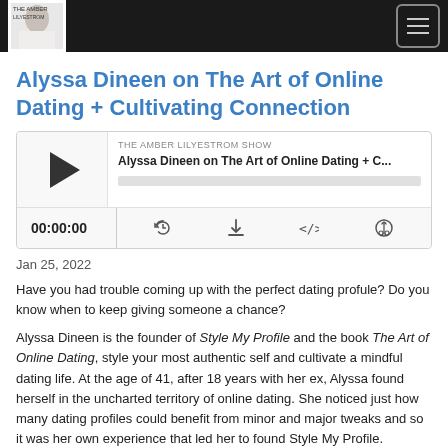The Amber Lilyestrom Show
Alyssa Dineen on The Art of Online Dating + Cultivating Connection
[Figure (screenshot): Podcast player widget showing play button, episode title 'Alyssa Dineen on The Art of Online Dating + C...' from The Amber Lilyestrom Show, progress bar, time display 00:00:00, and control icons for RSS, download, embed, and share.]
Jan 25, 2022
Have you had trouble coming up with the perfect dating profule? Do you know when to keep giving someone a chance?
Alyssa Dineen is the founder of Style My Profile and the book The Art of Online Dating, style your most authentic self and cultivate a mindful dating life. At the age of 41, after 18 years with her ex, Alyssa found herself in the uncharted territory of online dating. She noticed just how many dating profiles could benefit from minor and major tweaks and so it was her own experience that led her to found Style My Profile.